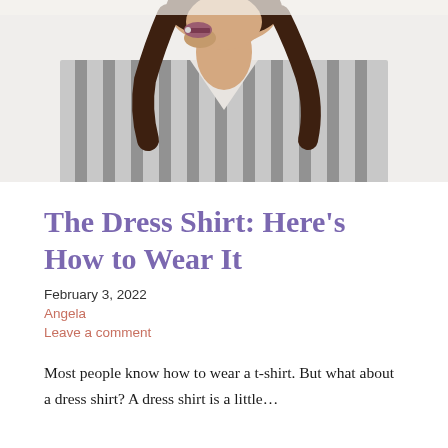[Figure (photo): Woman wearing a striped grey and white dress shirt, eating a macaron, photographed from the chest up against a light background. Her dark brown wavy hair is visible.]
The Dress Shirt: Here's How to Wear It
February 3, 2022
Angela
Leave a comment
Most people know how to wear a t-shirt. But what about a dress shirt? A dress shirt is a little…